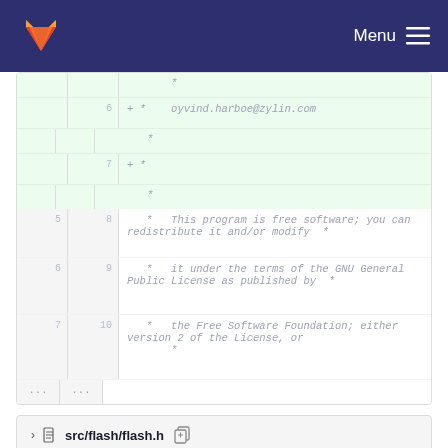[Figure (screenshot): GitLab navigation bar with fox logo and Menu button]
* oyvind.harboe@zylin.com (line 6, added)
* (line 7, added)
Diff code view showing added lines 6-7 with green background
5  8   *   This program is free software; you can redistribute it and/or modify  *
6  9   *   it under the terms of the GNU General Public License as published by  *
7  10  *   the Free Software Foundation; either version 2 of the License, or
       *
...  ...
src/flash/flash.h